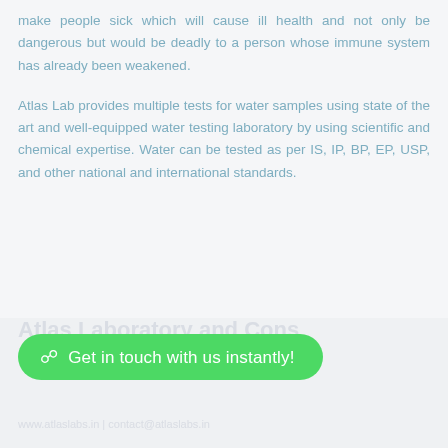make people sick which will cause ill health and not only be dangerous but would be deadly to a person whose immune system has already been weakened.
Atlas Lab provides multiple tests for water samples using state of the art and well-equipped water testing laboratory by using scientific and chemical expertise. Water can be tested as per IS, IP, BP, EP, USP, and other national and international standards.
Get in touch with us instantly!